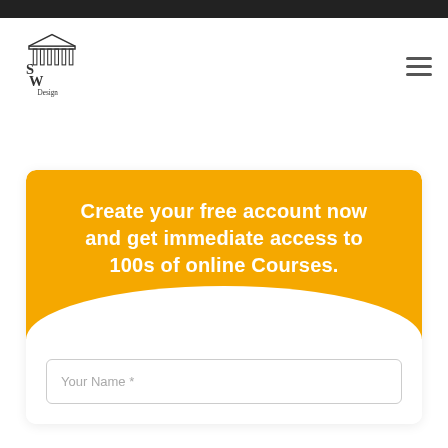[Figure (logo): SWW Design logo with columns icon and stylized lettering]
Create your free account now and get immediate access to 100s of online Courses.
Your Name *